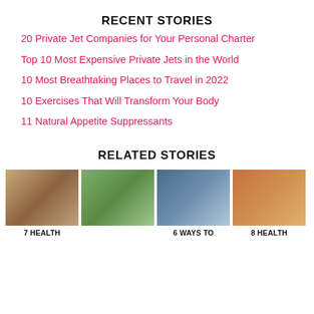RECENT STORIES
20 Private Jet Companies for Your Personal Charter
Top 10 Most Expensive Private Jets in the World
10 Most Breathtaking Places to Travel in 2022
10 Exercises That Will Transform Your Body
11 Natural Appetite Suppressants
RELATED STORIES
7 HEALTH
6 WAYS TO
8 HEALTH